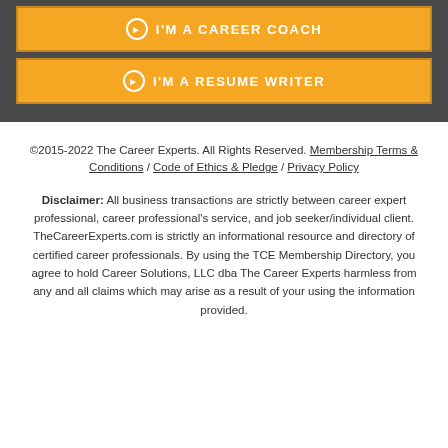[Figure (other): Yellow button labeled I'M A CAREER COACH with circle arrow icon, on dark gray background]
[Figure (other): Yellow button labeled I'M A RESUME WRITER with circle arrow icon, on dark gray background]
©2015-2022 The Career Experts. All Rights Reserved. Membership Terms & Conditions / Code of Ethics & Pledge / Privacy Policy
Disclaimer: All business transactions are strictly between career expert professional, career professional's service, and job seeker/individual client. TheCareerExperts.com is strictly an informational resource and directory of certified career professionals. By using the TCE Membership Directory, you agree to hold Career Solutions, LLC dba The Career Experts harmless from any and all claims which may arise as a result of your using the information provided.